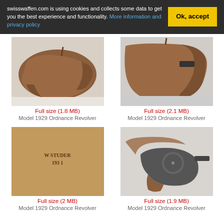swisswaffen.com is using cookies and collects some data to get you the best experience and functionality. More information and privacy policy
[Figure (photo): Brown leather holster for Model 1929 Ordnance Revolver, side view on light background]
Full size (1.8 MB)
Model 1929 Ordnance Revolver
[Figure (photo): Brown leather holster for Model 1929 Ordnance Revolver, front view showing strap and buckle]
Full size (2.1 MB)
Model 1929 Ordnance Revolver
[Figure (photo): Close-up of leather holster stamp reading W STUDER 193_ on brown leather]
Full size (2 MB)
Model 1929 Ordnance Revolver
[Figure (photo): Model 1929 Ordnance Revolver gun shown with brown holster, side view]
Full size (1.9 MB)
Model 1929 Ordnance Revolver